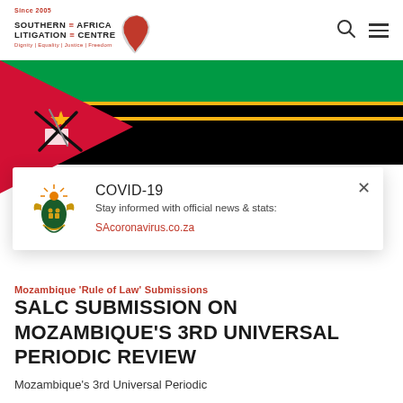[Figure (logo): Southern Africa Litigation Centre logo with Africa map silhouette, tagline: Dignity | Equality | Justice | Freedom, Since 2005]
[Figure (photo): Mozambique national flag showing green, black, yellow horizontal stripes with a red triangle on the left containing a yellow star, AK-47, and hoe]
[Figure (infographic): COVID-19 popup banner with South Africa government coat of arms, text: COVID-19 Stay informed with official news & stats: SAcoronavirus.co.za, with a close X button]
Mozambique 'Rule of Law' Submissions
SALC SUBMISSION ON MOZAMBIQUE'S 3RD UNIVERSAL PERIODIC REVIEW
Mozambique's 3rd Universal Periodic